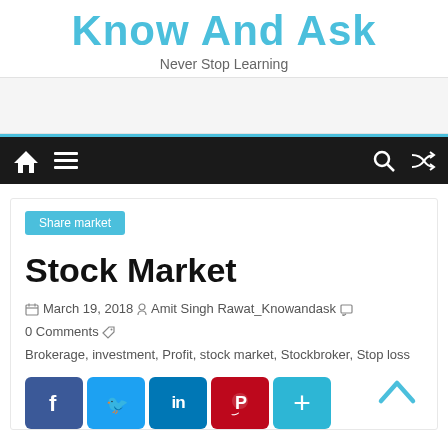Know And Ask
Never Stop Learning
[Figure (screenshot): Website navigation bar with home icon, hamburger menu, search icon, and shuffle icon on dark background]
Share market
Stock Market
March 19, 2018  Amit Singh Rawat_Knowandask  0 Comments  Brokerage, investment, Profit, stock market, Stockbroker, Stop loss
[Figure (screenshot): Social share buttons: Facebook, Twitter, LinkedIn, Pinterest, More (+)]